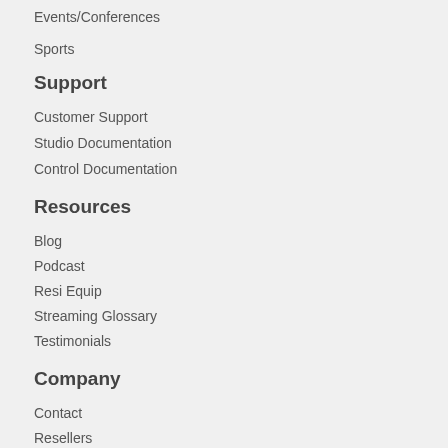Events/Conferences
Sports
Support
Customer Support
Studio Documentation
Control Documentation
Resources
Blog
Podcast
Resi Equip
Streaming Glossary
Testimonials
Company
Contact
Resellers